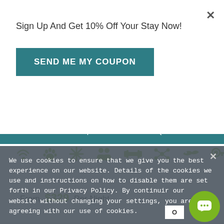Sign Up And Get 10% Off Your Stay Now!
SEND ME MY COUPON
[Figure (infographic): Row of green amenity icons: WiFi, paw print, snowflake/asterisk, people group, barbell, abstract/molecule, alligator/crocodile, key]
From $329 Per Night
MORE INFO
Referral Rewards   Corporate Services   FAQs   Contact Us
We use cookies to ensure that we give you the best experience on our website. Details of the cookies we use and instructions on how to disable them are set forth in our Privacy Policy. By continuing our website without changing your settings, you are agreeing with our use of cookies.
OK